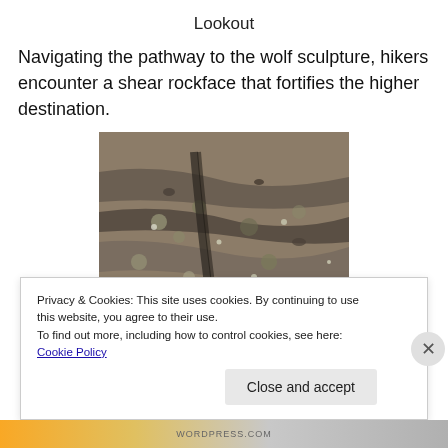Lookout
Navigating the pathway to the wolf sculpture, hikers encounter a shear rockface that fortifies the higher destination.
[Figure (photo): Close-up photograph of a shear rockface with lichen and rough texture, primarily grey and brown tones with blue sky visible at top]
Privacy & Cookies: This site uses cookies. By continuing to use this website, you agree to their use.
To find out more, including how to control cookies, see here: Cookie Policy
Close and accept